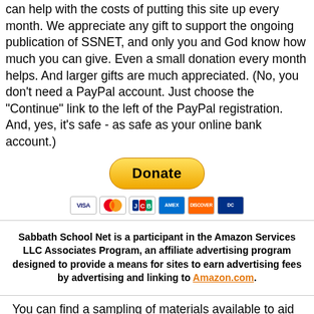blogging on our visitors and ask Him to impress you how you can help with the costs of putting this site up every month. We appreciate any gift to support the ongoing publication of SSNET, and only you and God know how much you can give. Even a small donation every month helps. And larger gifts are much appreciated. (No, you don't need a PayPal account. Just choose the "Continue" link to the left of the PayPal registration. And, yes, it's safe - as safe as your online bank account.)
[Figure (other): PayPal Donate button with credit card icons (Visa, Mastercard, JCB, American Express, Discover, Diners Club)]
Sabbath School Net is a participant in the Amazon Services LLC Associates Program, an affiliate advertising program designed to provide a means for sites to earn advertising fees by advertising and linking to Amazon.com.
You can find a sampling of materials available to aid you in your studies at our SSNET Store. (We will get a small commission not only from any books you purchase but also from whatever else you purchase at the same time. Those